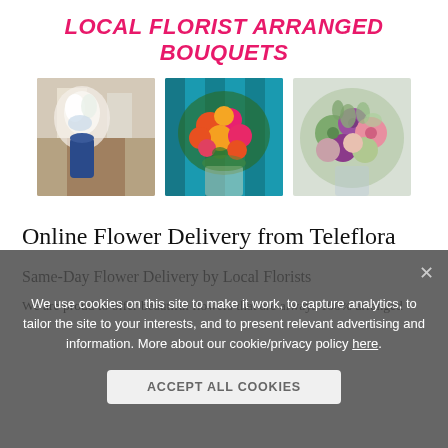LOCAL FLORIST ARRANGED BOUQUETS
[Figure (photo): Three flower bouquet photos side by side: white flowers in blue vase on wooden shelf; colorful orange and pink roses against teal wall; mixed bouquet with succulents and purple flowers]
Online Flower Delivery from Teleflora
Same-Day Flower Delivery by Local Florists
We are proud to offer beautiful flowers that are always 100% arranged and delivered by local florists. We make it easy to order flowers online, and with same-day delivery available, you can order flower arrangements for any occasion and get them delivered.
We use cookies on this site to make it work, to capture analytics, to tailor the site to your interests, and to present relevant advertising and information. More about our cookie/privacy policy here.
ACCEPT ALL COOKIES